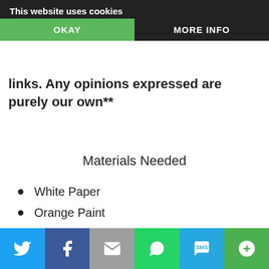This website uses cookies
This post contains affiliate links. We may get a commission on purchases made from our links. Any opinions expressed are purely our own**
Materials Needed
White Paper
Orange Paint
Brown Paint
scissors
Glue
Mega Bloks